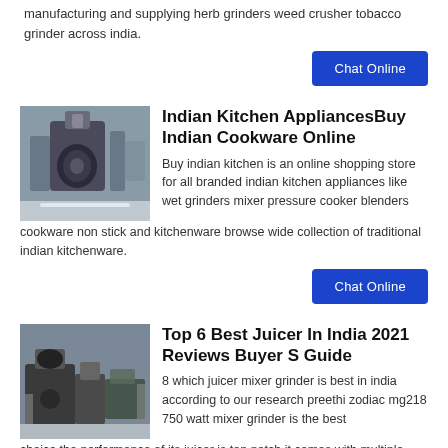manufacturing and supplying herb grinders weed crusher tobacco grinder across india.
Chat Online
[Figure (photo): Photo of large industrial grinding machinery inside a factory/warehouse setting.]
Indian Kitchen AppliancesBuy Indian Cookware Online
Buy indian kitchen is an online shopping store for all branded indian kitchen appliances like wet grinders mixer pressure cooker blenders cookware non stick and kitchenware browse wide collection of traditional indian kitchenware.
Chat Online
[Figure (photo): Photo of industrial grinding or milling equipment inside a factory setting.]
Top 6 Best Juicer In India 2021 Reviews Buyer S Guide
8 which juicer mixer grinder is best in india according to our research preethi zodiac mg218 750 watt mixer grinder is the best choice the performance of its juicer is top notch it comes with multiple